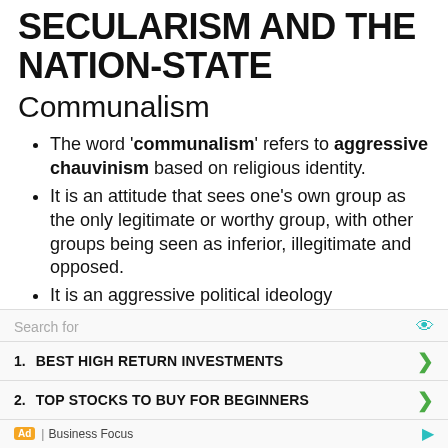SECULARISM AND THE NATION-STATE
Communalism
The word 'communalism' refers to aggressive chauvinism based on religious identity.
It is an attitude that sees one's own group as the only legitimate or worthy group, with other groups being seen as inferior, illegitimate and opposed.
It is an aggressive political ideology
Search for
1. BEST HIGH RETURN INVESTMENTS
2. TOP STOCKS TO BUY FOR BEGINNERS
Ad | Business Focus